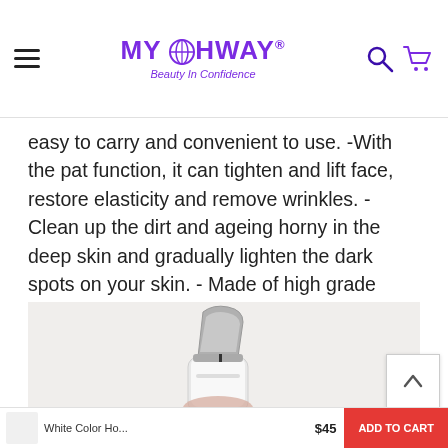MYCHWAY® Beauty In Confidence
easy to carry and convenient to use. -With the pat function, it can tighten and lift face, restore elasticity and remove wrinkles. -Clean up the dirt and ageing horny in the deep skin and gradually lighten the dark spots on your skin. - Made of high grade material, which is more durable and eco-friendly.
[Figure (photo): A hand holding a white ultrasonic skin scrubber / spatula beauty device with a silver curved blade head, photographed on a light background.]
White Color Home... $45